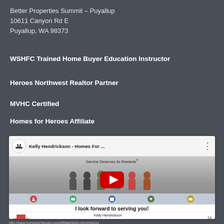Better Properties Summit – Puyallup
10611 Canyon Rd E
Puyallup, WA 98373
WSHFC Trained Home Buyer Education Instructor
Heroes Northwest Realtor Partner
MVHC Certified
Homes for Heroes Affiliate
[Figure (screenshot): YouTube video thumbnail for Kelly Hendrickson - Homes For Heroes affiliate video, showing 'Service Deserves Its Rewards' with group of service professionals, play button overlay, and contact info: Kelly Hendrickson, 253-686-2174 Cell, www.kellyhendricksonhomes.com]
http://www.homesforheroes.com/affiliate/kelly-hendrickson